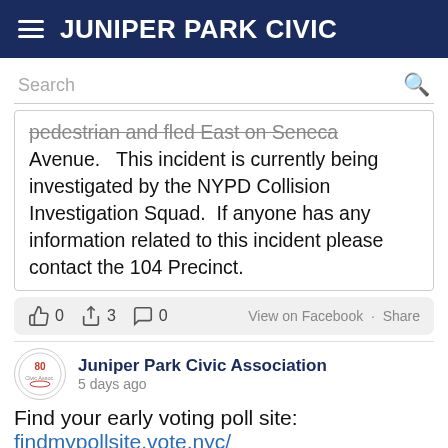JUNIPER PARK CIVIC
pedestrian and fled East on Seneca Avenue.   This incident is currently being investigated by the NYPD Collision Investigation Squad.  If anyone has any information related to this incident please contact the 104 Precinct.
0  3  0   View on Facebook · Share
Juniper Park Civic Association
5 days ago
Find your early voting poll site: findmypollsite.vote.nyc/
The August Primary is scheduled for August 23, 2022 with Early